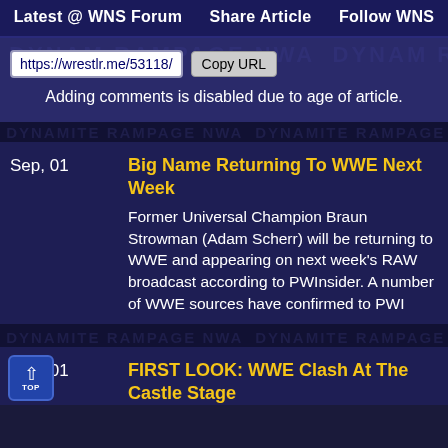Latest @ WNS Forum   Share Article   Follow WNS
https://wrestlr.me/53118/   Copy URL
Adding comments is disabled due to age of article.
Sep, 01
Big Name Returning To WWE Next Week
Former Universal Champion Braun Strowman (Adam Scherr) will be returning to WWE and appearing on next week's RAW broadcast according to PWInsider. A number of WWE sources have confirmed to PWI
Sep, 01
FIRST LOOK: WWE Clash At The Castle Stage